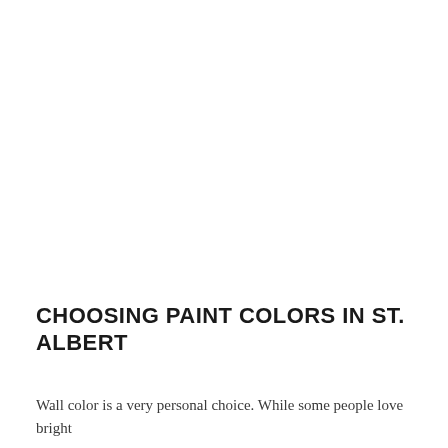CHOOSING PAINT COLORS IN ST. ALBERT
Wall color is a very personal choice. While some people love bright colors, others prefer a more subdued palette. In some cases, of